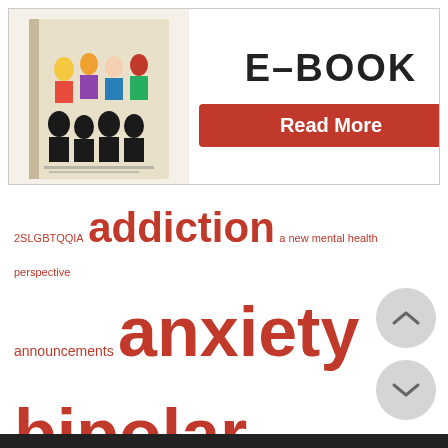[Figure (illustration): E-BOOK banner with cartoon book cover illustration on the left and 'E-BOOK' text with a red 'Read More' button on the right.]
2SLGBTQQIA addiction a new mental health perspective announcements anxiety bipolar body dysmorphic disorder body image borderline personality disorder conversion disorder depersonalization depression derealization dermatillomania dissociative identity disorder eating disorder lifestyle medication OCD psychosis PTSD schizophrenia self harm suicide trichotillomania